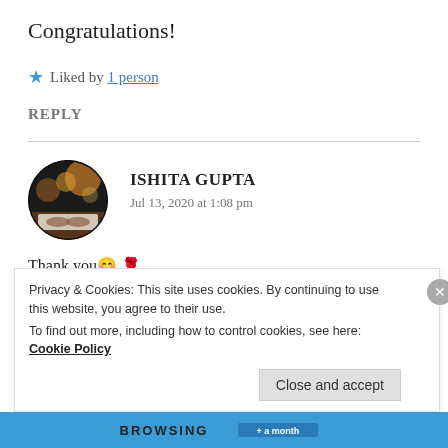Congratulations!
★ Liked by 1 person
REPLY
[Figure (photo): Circular avatar photo of Ishita Gupta, showing a person reading a book with bokeh lighting]
ISHITA GUPTA
Jul 13, 2020 at 1:08 pm
Thank you 😊 🌹
Privacy & Cookies: This site uses cookies. By continuing to use this website, you agree to their use.
To find out more, including how to control cookies, see here: Cookie Policy
Close and accept